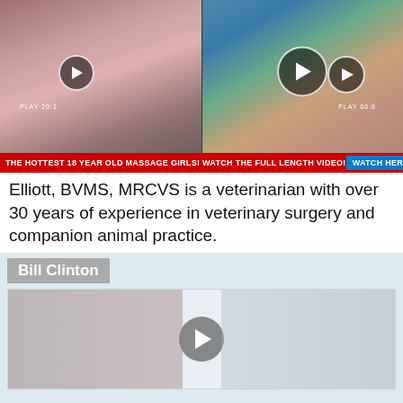[Figure (screenshot): Two video thumbnails side by side showing women, each with play buttons. Left thumbnail labeled 'PLAY 20:1', right thumbnail labeled 'PLAY 80:8' with a larger center play button.]
THE HOTTEST 18 YEAR OLD MASSAGE GIRLS! WATCH THE FULL LENGTH VIDEO! WATCH HERE!
Elliott, BVMS, MRCVS is a veterinarian with over 30 years of experience in veterinary surgery and companion animal practice.
Bill Clinton
[Figure (screenshot): Video placeholder with a gray play button in the center on a light blue-gray background.]